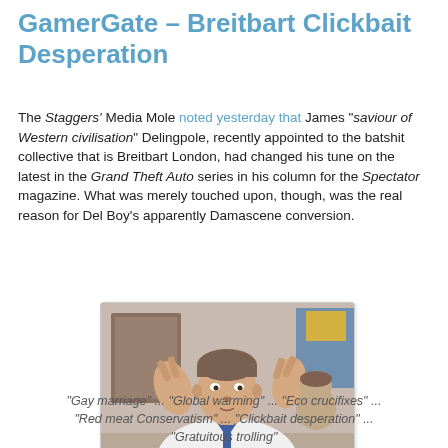GamerGate – Breitbart Clickbait Desperation
The Staggers' Media Mole noted yesterday that James "saviour of Western civilisation" Delingpole, recently appointed to the batshit collective that is Breitbart London, had changed his tune on the latest in the Grand Theft Auto series in his column for the Spectator magazine. What was merely touched upon, though, was the real reason for Del Boy's apparently Damascene conversion.
[Figure (photo): Photo of a man in a white shirt making air-quotes gestures with both hands]
"Gay marriage" ... "Global warming" ... "Eco crucifixes" ... "Red meat Conservatism" ... "Clickbait desperation" ... "Gratuitous trolling"